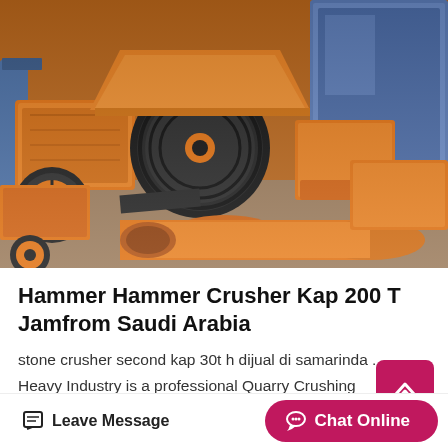[Figure (photo): Multiple orange-painted hammer crushers and stone crushing equipment arranged outdoors, showing heavy machinery with flywheels, pulleys, and conveyor components.]
Hammer Hammer Crusher Kap 200 T Jamfrom Saudi Arabia
stone crusher second kap 30t h dijual di samarinda ... Heavy Industry is a professional Quarry Crushing equipment manufacturing company, we produce all types of ore